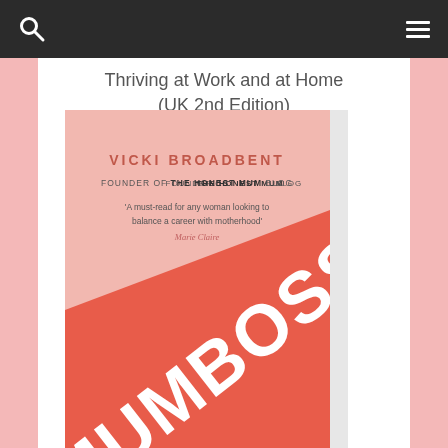Navigation bar with search and menu icons
Thriving at Work and at Home (UK 2nd Edition)
Available on Amazon or Audible
[Figure (illustration): Book cover of MUMBOSS by Vicki Broadbent, Founder of The Honest Mum Blog. Pink background with large bold white MUMBOSS text on a red diagonal shape. Quote: 'A must-read for any woman looking to balance a career with motherhood' – Marie Claire]